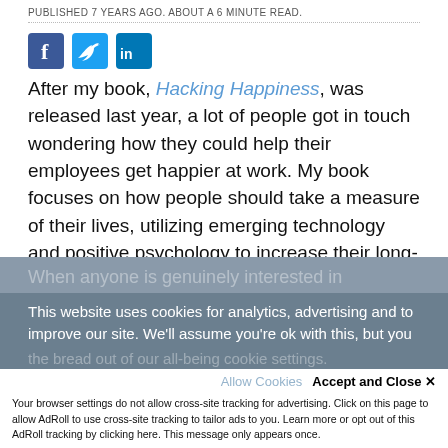PUBLISHED 7 YEARS AGO. ABOUT A 6 MINUTE READ.
[Figure (other): Social media share icons: Facebook, Twitter, LinkedIn]
After my book, Hacking Happiness, was released last year, a lot of people got in touch wondering how they could help their employees get happier at work. My book focuses on how people should take a measure of their lives, utilizing emerging technology and positive psychology to increase their long-term wellbeing versus just their mood.
When anyone is genuinely interested in increasing...
This website uses cookies for analytics, advertising and to improve our site. We'll assume you're ok with this, but you
Accept and Close ✕
Allow Cookies
Your browser settings do not allow cross-site tracking for advertising. Click on this page to allow AdRoll to use cross-site tracking to tailor ads to you. Learn more or opt out of this AdRoll tracking by clicking here. This message only appears once.